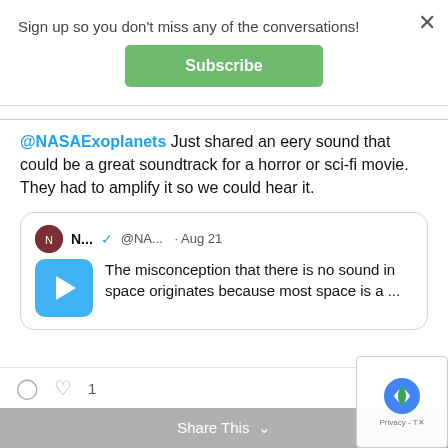Sign up so you don't miss any of the conversations!
Subscribe
@NASAExoplanets Just shared an eery sound that could be a great soundtrack for a horror or sci-fi movie. They had to amplify it so we could hear it.
N... @NA... · Aug 21 The misconception that there is no sound in space originates because most space is a ...
Share This